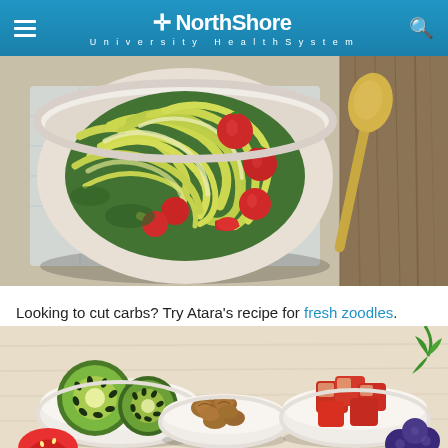NorthShore University HealthSystem
[Figure (photo): Overhead view of a white bowl filled with zucchini noodles (zoodles) topped with halved cherry tomatoes and herbs, with a wooden spoon on a light background]
Looking to cut carbs? Try Atara's recipe for fresh zoodles.
[Figure (photo): Top-down view of several small white bowls containing kiwi slices, walnuts, red apple chunks, blueberries, and strawberries on a light wooden surface with herbs]